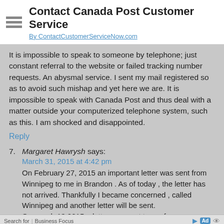Contact Canada Post Customer Service
By ContactCustomerServiceNow.com
It is impossible to speak to someone by telephone; just constant referral to the website or failed tracking number requests. An abysmal service. I sent my mail registered so as to avoid such mishap and yet here we are. It is impossible to speak with Canada Post and thus deal with a matter outside your computerized telephone system, such as this. I am shocked and disappointed.
Reply
7. Margaret Hawrysh says:
March 31, 2015 at 4:42 pm
On February 27, 2015 an important letter was sent from Winnipeg to me in Brandon . As of today , the letter has not arrived. Thankfully I became concerned , called Winnipeg and another letter will be sent.
On march 13 2015 a letter was sent to me from
Search for | Business Focus
1. WIFI INTERNET ACCESS